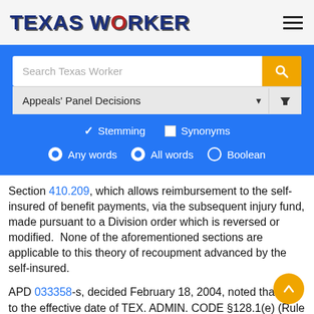TEXAS WORKER
[Figure (screenshot): Search interface with search bar, Appeals Panel Decisions dropdown, Stemming/Synonyms checkboxes, and Any words/All words/Boolean radio buttons on blue background]
Section 410.209, which allows reimbursement to the self-insured of benefit payments, via the subsequent injury fund, made pursuant to a Division order which is reversed or modified.  None of the aforementioned sections are applicable to this theory of recoupment advanced by the self-insured.
APD 033358-s, decided February 18, 2004, noted that prior to the effective date of TEX. ADMIN. CODE §128.1(e) (Rule